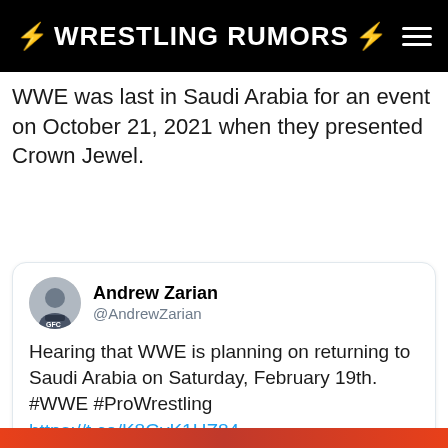⚡ WRESTLING RUMORS ⚡
WWE was last in Saudi Arabia for an event on October 21, 2021 when they presented Crown Jewel.
[Figure (screenshot): Embedded tweet from Andrew Zarian (@AndrewZarian) reading: 'Hearing that WWE is planning on returning to Saudi Arabia on Saturday, February 19th. #WWE #ProWrestling https://t.co/K8GyK1HZ84']